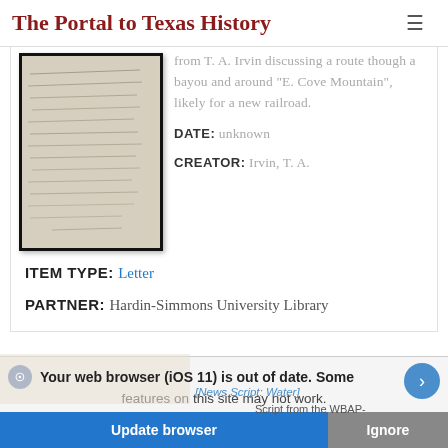The Portal to Texas History
[Figure (photo): Thumbnail of a handwritten letter, dark-bordered, on aged paper]
from T. A. Irvin discussing a route though a bayou and around "E. Cove Mountain", likely for a new railroad.
DATE: unknown
CREATOR: Irvin, T. A.
ITEM TYPE: Letter
PARTNER: Hardin-Simmons University Library
Your web browser (iOS 11) is out of date. Some features on this site may not work.
[News Script: Water]
Script from the WBAP-
Update browser
Ignore